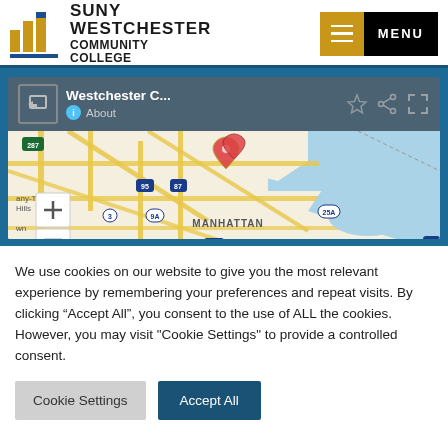SUNY WESTCHESTER COMMUNITY COLLEGE
[Figure (map): Google Maps screenshot showing Westchester C... location with map of area including Manhattan, highway routes 287, 95, 87, 9A, 25A, and surrounding regions. Map header shows location name 'Westchester C...' with About link, share and expand icons, and zoom controls.]
We use cookies on our website to give you the most relevant experience by remembering your preferences and repeat visits. By clicking “Accept All”, you consent to the use of ALL the cookies. However, you may visit "Cookie Settings" to provide a controlled consent.
Cookie Settings
Accept All